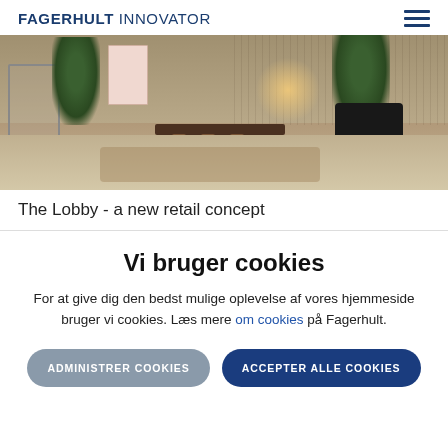FAGERHULT INNOVATOR
[Figure (photo): Interior photo of a modern retail/lobby space with bar-height tables, stools, plants, and warm lighting — The Lobby retail concept]
The Lobby - a new retail concept
Vi bruger cookies
For at give dig den bedst mulige oplevelse af vores hjemmeside bruger vi cookies. Læs mere om cookies på Fagerhult.
ADMINISTRER COOKIES
ACCEPTER ALLE COOKIES